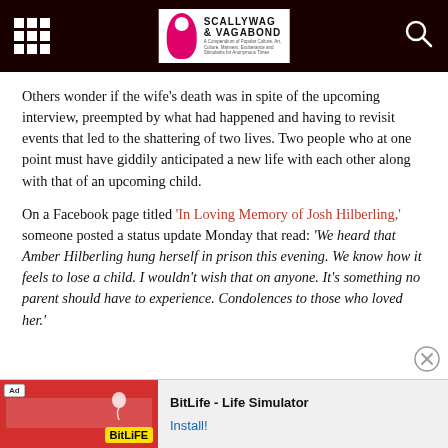Scallywag & Vagabond
Others wonder if the wife's death was in spite of the upcoming interview, preempted by what had happened and having to revisit events that led to the shattering of two lives. Two people who at one point must have giddily anticipated a new life with each other along with that of an upcoming child.
On a Facebook page titled ‘In Loving Memory of Josh Hilberling,’ someone posted a status update Monday that read: ‘We heard that Amber Hilberling hung herself in prison this evening. We know how it feels to lose a child. I wouldn’t wish that on anyone. It’s something no parent should have to experience. Condolences to those who loved her.’
[Figure (screenshot): BitLife Life Simulator advertisement banner at bottom of page]